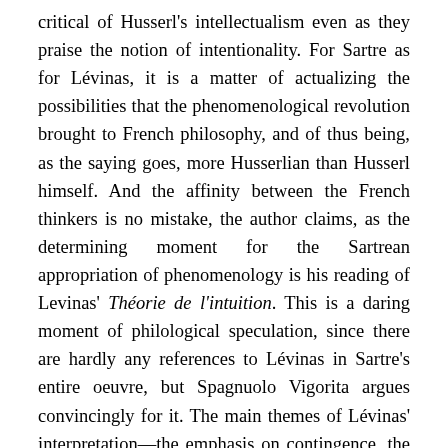critical of Husserl's intellectualism even as they praise the notion of intentionality. For Sartre as for Lévinas, it is a matter of actualizing the possibilities that the phenomenological revolution brought to French philosophy, and of thus being, as the saying goes, more Husserlian than Husserl himself. And the affinity between the French thinkers is no mistake, the author claims, as the determining moment for the Sartrean appropriation of phenomenology is his reading of Levinas' Théorie de l'intuition. This is a daring moment of philological speculation, since there are hardly any references to Lévinas in Sartre's entire oeuvre, but Spagnuolo Vigorita argues convincingly for it. The main themes of Lévinas' interpretation—the emphasis on contingence, the historical situatedness of the subject, the importance of the reduction, and most of all the understanding of intentionality as a veritable explosion toward the world—all find a